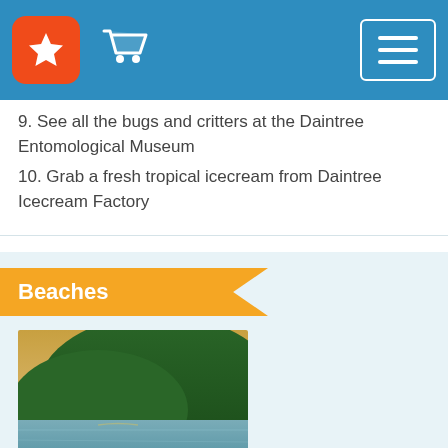App header with star logo, cart icon, and menu button
9. See all the bugs and critters at the Daintree Entomological Museum
10. Grab a fresh tropical icecream from Daintree Icecream Factory
Beaches
[Figure (photo): Beach photo showing Cow Bay with calm water, sandy shore, and green forested hillside under a golden sky]
Cow Bay
Cow Bay has been classified as an Outstanding Cassowary